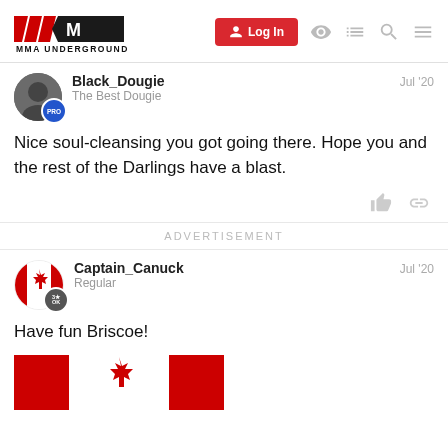MMA UNDERGROUND - Log In
Black_Dougie
The Best Dougie
Jul '20
Nice soul-cleansing you got going there.  Hope you and the rest of the Darlings have a blast.
ADVERTISEMENT
Captain_Canuck
Regular
Jul '20
Have fun Briscoe!
[Figure (photo): Canadian flag image partially visible at bottom]